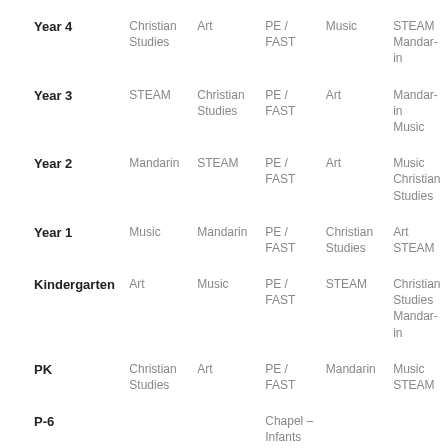| Year | Col1 | Col2 | Col3 | Col4 | Col5 |
| --- | --- | --- | --- | --- | --- |
| Year 4 | Christian Studies | Art | PE / FAST | Music | STEAM
Mandarin |
| Year 3 | STEAM | Christian Studies | PE / FAST | Art | Mandarin
Music |
| Year 2 | Mandarin | STEAM | PE / FAST | Art | Music
Christian Studies |
| Year 1 | Music | Mandarin | PE / FAST | Christian Studies | Art
STEAM |
| Kindergarten | Art | Music | PE / FAST | STEAM | Christian Studies
Mandarin |
| PK | Christian Studies | Art | PE / FAST | Mandarin | Music
STEAM |
| P-6 |  |  | Chapel – Infants and Primary |  |  |